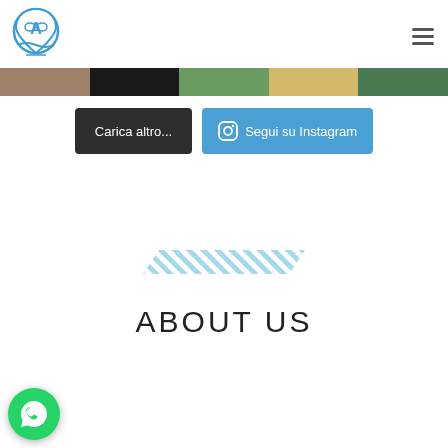Travel Planner Amaro logo and navigation
[Figure (photo): Horizontal strip of five thumbnail photos showing travel scenes]
Carica altro...
Segui su Instagram
[Figure (illustration): Diagonal blue stripe decorative element]
ABOUT US
[Figure (illustration): WhatsApp green phone icon bubble button]